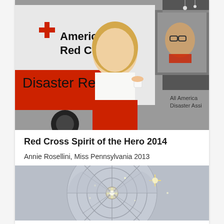[Figure (photo): Woman wearing a crown and white jacket standing next to an American Red Cross Disaster Relief vehicle, smiling at a male volunteer inside the vehicle window who is handing her a cup.]
Red Cross Spirit of the Hero 2014
Annie Rosellini, Miss Pennsylvania 2013
[Figure (photo): Aerial/overhead view of a circular ceiling dome with radial geometric pattern, with sparkling light effects and fireworks-like sparkle effects near the center.]